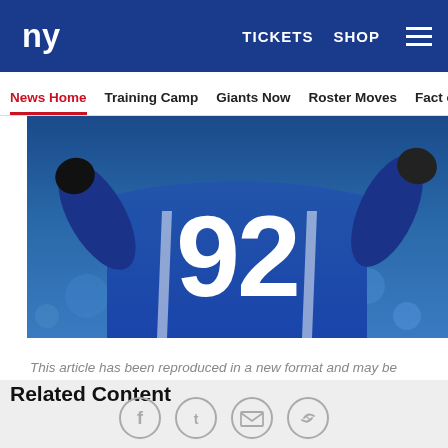ny TICKETS SHOP ≡
News Home  Training Camp  Giants Now  Roster Moves  Fact o
[Figure (photo): Football player wearing jersey number 92 in blue uniform, arms raised, close-up torso shot]
This article has been reproduced in a new format and may be missing content or contain faulty links. Please use the Contact Us link in our site footer to report an issue.
Related Content
[Figure (other): Social sharing icons: Facebook, Twitter, Email, Link/Share buttons in circular outlines]